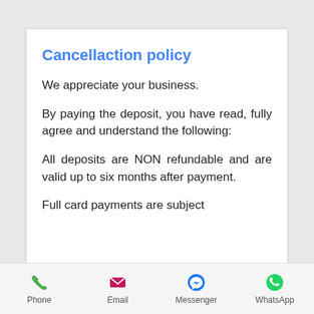Cancellaction policy
We appreciate your business.
By paying the deposit, you have read, fully agree and understand the following:
All deposits are NON refundable and are valid up to six months after payment.
Full card payments are subject
[Figure (infographic): Mobile app bottom navigation bar with Phone, Email, Messenger, and WhatsApp icons]